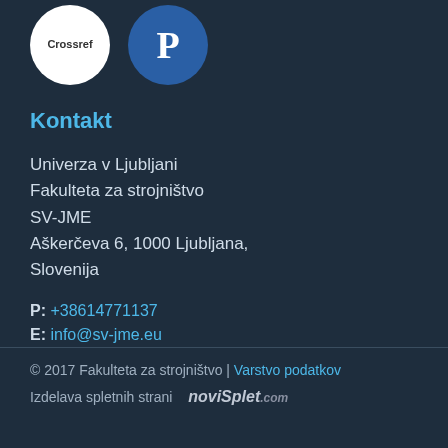[Figure (logo): Crossref logo (white circle with 'Crossref' text) and a Publons-style P logo (blue circle with white P letter)]
Kontakt
Univerza v Ljubljani
Fakulteta za strojništvo
SV-JME
Aškerčeva 6, 1000 Ljubljana,
Slovenija
P: +38614771137
E: info@sv-jme.eu
© 2017 Fakulteta za strojništvo | Varstvo podatkov
Izdelava spletnih strani   noviSplet.com